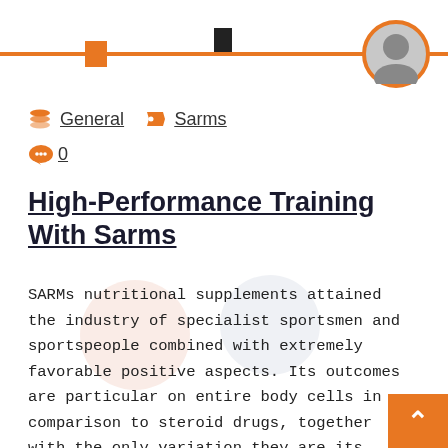Header bar with profile icon, navigation elements
General  Sarms  0
High-Performance Training With Sarms
SARMs nutritional supplements attained the industry of specialist sportsmen and sportspeople combined with extremely favorable positive aspects. Its outcomes are particular on entire body cells in comparison to steroid drugs, together with the only variation they are its sarms kaufen successor. It is an development around the aged dietary supplements, making behind their dangerous adverse [...]